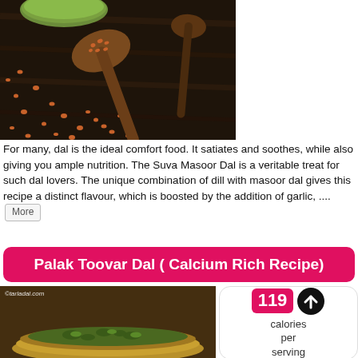[Figure (photo): Photo of lentils (masoor dal) scattered on a dark wooden surface with wooden spoons and a bowl of green dal in the background]
For many, dal is the ideal comfort food. It satiates and soothes, while also giving you ample nutrition. The Suva Masoor Dal is a veritable treat for such dal lovers. The unique combination of dill with masoor dal gives this recipe a distinct flavour, which is boosted by the addition of garlic, .... More
Palak Toovar Dal ( Calcium Rich Recipe)
[Figure (photo): Photo of Palak Toovar Dal served in a brass/metal bowl, showing spinach and lentils]
[Figure (infographic): Calorie count badge showing 119 calories per serving with an upward arrow icon]